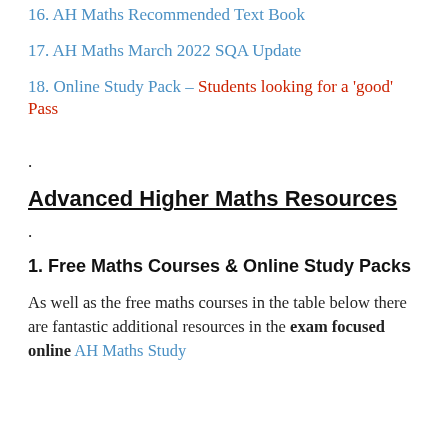16. AH Maths Recommended Text Book
17. AH Maths March 2022 SQA Update
18. Online Study Pack – Students looking for a 'good' Pass
.
Advanced Higher Maths Resources
.
1. Free Maths Courses & Online Study Packs
As well as the free maths courses in the table below there are fantastic additional resources in the exam focused online AH Maths Study